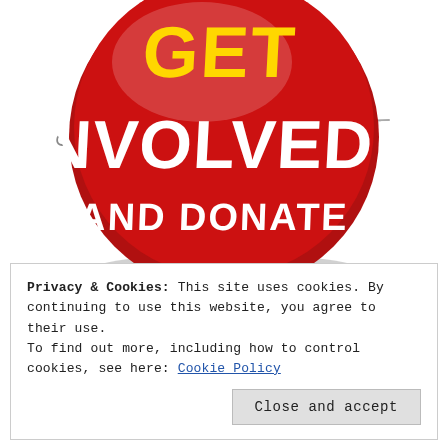[Figure (illustration): A large red circular button/badge with a safety pin, displaying 'GET' in bold yellow text at the top, 'INVOLVED!' in large bold white text in the center, and 'AND DONATE' in bold white text at the bottom. The badge has a 3D shiny appearance with shadows.]
Privacy & Cookies: This site uses cookies. By continuing to use this website, you agree to their use.
To find out more, including how to control cookies, see here: Cookie Policy
Close and accept